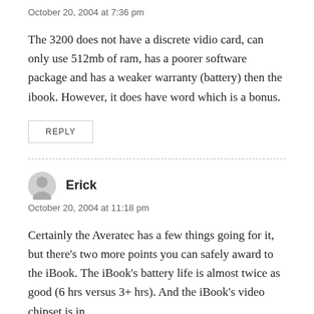October 20, 2004 at 7:36 pm
The 3200 does not have a discrete vidio card, can only use 512mb of ram, has a poorer software package and has a weaker warranty (battery) then the ibook. However, it does have word which is a bonus.
REPLY
Erick
October 20, 2004 at 11:18 pm
Certainly the Averatec has a few things going for it, but there's two more points you can safely award to the iBook. The iBook's battery life is almost twice as good (6 hrs versus 3+ hrs). And the iBook's video chipset is in